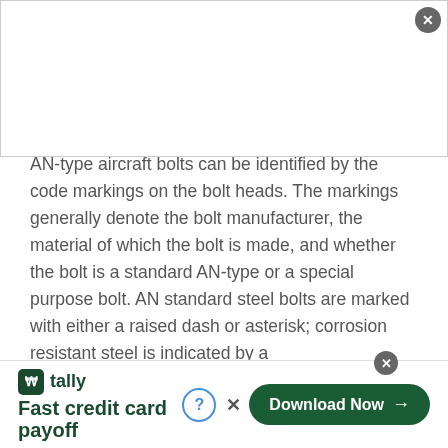varieties. A clear-cut method of classification is difficult. Bolts can be identified by the shape of the head, method of securing, material used in fabrication, or the expected usage.
AN-type aircraft bolts can be identified by the code markings on the bolt heads. The markings generally denote the bolt manufacturer, the material of which the bolt is made, and whether the bolt is a standard AN-type or a special purpose bolt. AN standard steel bolts are marked with either a raised dash or asterisk; corrosion resistant steel is indicated by a
[Figure (screenshot): Advertisement banner for Tally app - Fast credit card payoff, with Download Now button]